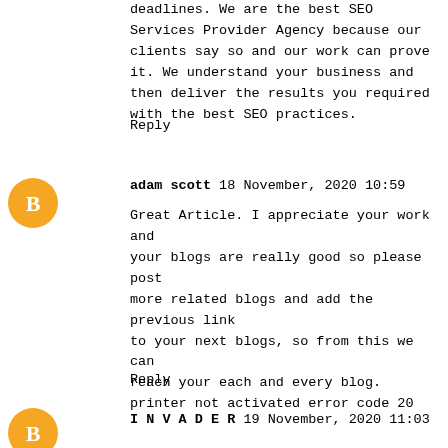deadlines. We are the best SEO Services Provider Agency because our clients say so and our work can prove it. We understand your business and then deliver the results you required with the best SEO practices.
Reply
adam scott 18 November, 2020 10:59
Great Article. I appreciate your work and your blogs are really good so please post more related blogs and add the previous link to your next blogs, so from this we can reach your each and every blog.
printer not activated error code 20
Reply
INVADER 19 November, 2020 11:03